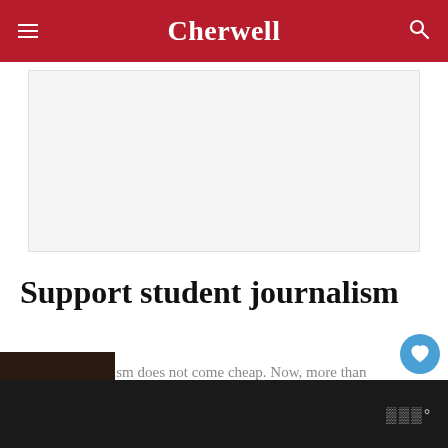Cherwell
[Figure (other): Advertisement placeholder area, light grey background]
Support student journalism
Student journalism does not come cheap. Now, more than ever, we need your support.
2